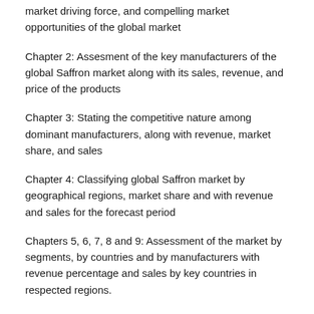market driving force, and compelling market opportunities of the global market
Chapter 2: Assesment of the key manufacturers of the global Saffron market along with its sales, revenue, and price of the products
Chapter 3: Stating the competitive nature among dominant manufacturers, along with revenue, market share, and sales
Chapter 4: Classifying global Saffron market by geographical regions, market share and with revenue and sales for the forecast period
Chapters 5, 6, 7, 8 and 9: Assessment of the market by segments, by countries and by manufacturers with revenue percentage and sales by key countries in respected regions.
Read Out Complete TOC of Saffron Market